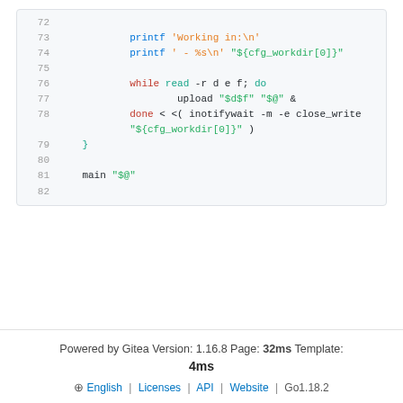[Figure (screenshot): Code viewer showing bash script lines 72–82 with syntax highlighting. Line 73: printf 'Working in:\n', Line 74: printf ' - %s\n' "${cfg_workdir[0]}", Line 76: while read -r d e f; do, Line 77: upload "$d$f" "$@" &, Line 78: done < <( inotifywait -m -e close_write "${cfg_workdir[0]}" ), Line 79: }, Line 80: (empty), Line 81: main "$@", Line 82: (empty).]
Powered by Gitea Version: 1.16.8 Page: 32ms Template: 4ms | English | Licenses | API | Website | Go1.18.2